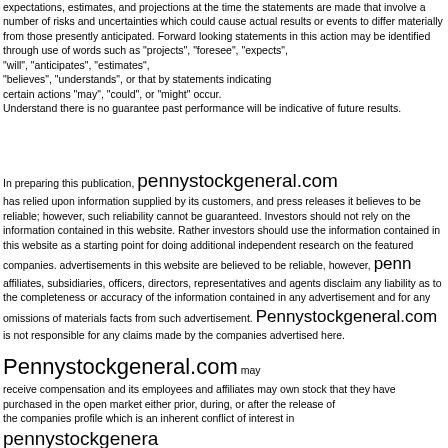expectations, estimates, and projections at the time the statements are made that involve a number of risks and uncertainties which could cause actual results or events to differ materially from those presently anticipated. Forward looking statements in this action may be identified through use of words such as "projects", "foresee", "expects", "will", "anticipates", "estimates", "believes", "understands", or that by statements indicating certain actions "may", "could", or "might" occur. Understand there is no guarantee past performance will be indicative of future results.
In preparing this publication, pennystockgeneral.com has relied upon information supplied by its customers, and press releases it believes to be reliable; however, such reliability cannot be guaranteed. Investors should not rely on the information contained in this website. Rather investors should use the information contained in this website as a starting point for doing additional independent research on the featured companies. advertisements in this website are believed to be reliable, however, pennystockgeneral.com affiliates, subsidiaries, officers, directors, representatives and agents disclaim any liability as to the completeness or accuracy of the information contained in any advertisement and for any omissions of materials facts from such advertisement. Pennystockgeneral.com is not responsible for any claims made by the companies advertised here.
Pennystockgeneral.com may receive compensation and its employees and affiliates may own stock that they have purchased in the open market either prior, during, or after the release of the companies profile which is an inherent conflict of interest in pennystockgeneral.com opinions and such statements and opinions cannot be considered independent. Pennystockgeneral.com management may benefit from any increase in the share price of the profiled